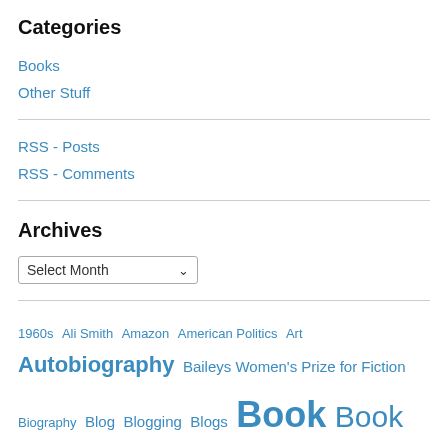Categories
Books
Other Stuff
RSS - Posts
RSS - Comments
Archives
Select Month
1960s Ali Smith Amazon American Politics Art Autobiography Baileys Women's Prize for Fiction Biography Blog Blogging Blogs Book Book Awards Book Blogs Booker Prize